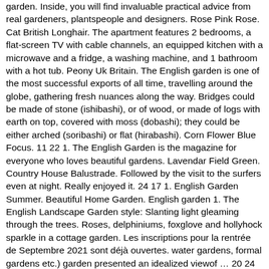garden. Inside, you will find invaluable practical advice from real gardeners, plantspeople and designers. Rose Pink Rose. Cat British Longhair. The apartment features 2 bedrooms, a flat-screen TV with cable channels, an equipped kitchen with a microwave and a fridge, a washing machine, and 1 bathroom with a hot tub. Peony Uk Britain. The English garden is one of the most successful exports of all time, travelling around the globe, gathering fresh nuances along the way. Bridges could be made of stone (ishibashi), or of wood, or made of logs with earth on top, covered with moss (dobashi); they could be either arched (soribashi) or flat (hirabashi). Corn Flower Blue Focus. 11 22 1. The English Garden is the magazine for everyone who loves beautiful gardens. Lavendar Field Green. Country House Balustrade. Followed by the visit to the surfers even at night. Really enjoyed it. 24 17 1. English Garden Summer. Beautiful Home Garden. English garden 1. The English Landscape Garden style: Slanting light gleaming through the trees. Roses, delphiniums, foxglove and hollyhock sparkle in a cottage garden. Les inscriptions pour la rentrée de Septembre 2021 sont déjà ouvertes. water gardens, formal gardens etc.) garden presented an idealized viewof … 20 24 1. English Academy. 18 10 5. French Country Living. This was a bit of heaven (especially after touring Dachau in the morning). 19 15 0. This 'natural' landscape gave way